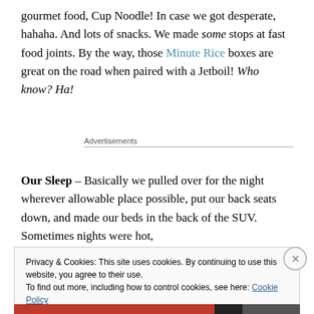gourmet food, Cup Noodle! In case we got desperate, hahaha. And lots of snacks. We made some stops at fast food joints. By the way, those Minute Rice boxes are great on the road when paired with a Jetboil! Who know? Ha!
Advertisements
Our Sleep – Basically we pulled over for the night wherever allowable place possible, put our back seats down, and made our beds in the back of the SUV. Sometimes nights were hot,
Privacy & Cookies: This site uses cookies. By continuing to use this website, you agree to their use.
To find out more, including how to control cookies, see here: Cookie Policy
Close and accept